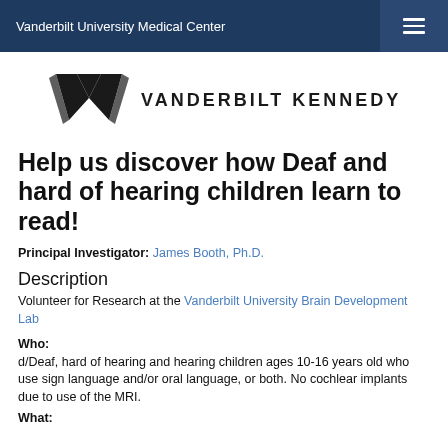Vanderbilt University Medical Center
[Figure (logo): Vanderbilt Kennedy Center logo with stylized V mark and text VANDERBILT KENNEDY CENTER]
Help us discover how Deaf and hard of hearing children learn to read!
Principal Investigator: James Booth, Ph.D.
Description
Volunteer for Research at the Vanderbilt University Brain Development Lab
Who:
d/Deaf, hard of hearing and hearing children ages 10-16 years old who use sign language and/or oral language, or both. No cochlear implants due to use of the MRI.
What: